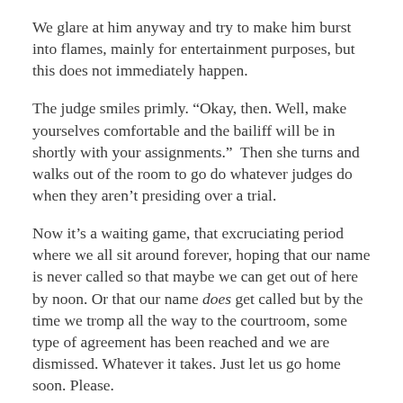We glare at him anyway and try to make him burst into flames, mainly for entertainment purposes, but this does not immediately happen.
The judge smiles primly. “Okay, then. Well, make yourselves comfortable and the bailiff will be in shortly with your assignments.”  Then she turns and walks out of the room to go do whatever judges do when they aren’t presiding over a trial.
Now it’s a waiting game, that excruciating period where we all sit around forever, hoping that our name is never called so that maybe we can get out of here by noon. Or that our name does get called but by the time we tromp all the way to the courtroom, some type of agreement has been reached and we are dismissed. Whatever it takes. Just let us go home soon. Please.